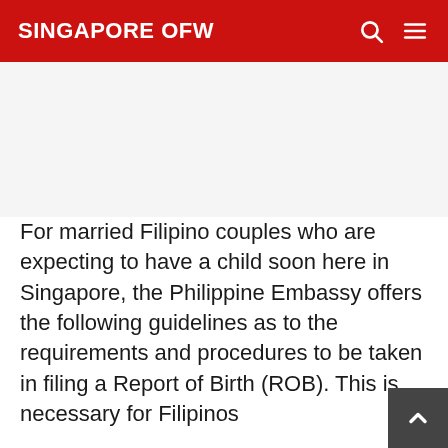SINGAPORE OFW
[Figure (other): Advertisement banner area (gray placeholder)]
For married Filipino couples who are expecting to have a child soon here in Singapore, the Philippine Embassy offers the following guidelines as to the requirements and procedures to be taken in filing a Report of Birth (ROB). This is necessary for Filipinos